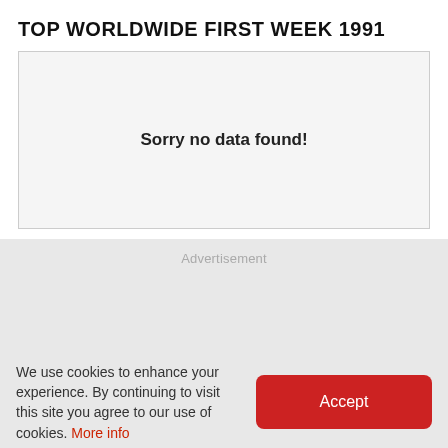TOP WORLDWIDE FIRST WEEK 1991
Sorry no data found!
Advertisement
We use cookies to enhance your experience. By continuing to visit this site you agree to our use of cookies. More info